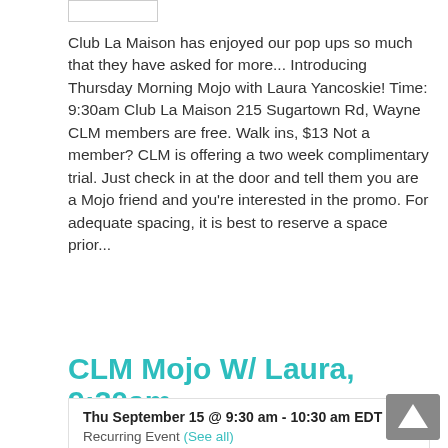Club La Maison has enjoyed our pop ups so much that they have asked for more... Introducing Thursday Morning Mojo with Laura Yancoskie! Time: 9:30am Club La Maison 215 Sugartown Rd, Wayne CLM members are free. Walk ins, $13 Not a member? CLM is offering a two week complimentary trial. Just check in at the door and tell them you are a Mojo friend and you're interested in the promo. For adequate spacing, it is best to reserve a space prior...
Find out more »
CLM Mojo W/ Laura, 9:30am
| Thu September 15 @ 9:30 am - 10:30 am EDT |
| Recurring Event (See all) |